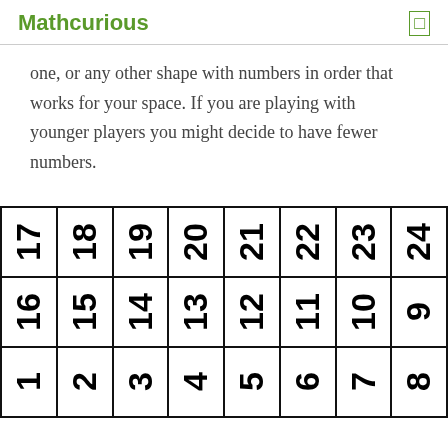Mathcurious
one, or any other shape with numbers in order that works for your space. If you are playing with younger players you might decide to have fewer numbers.
[Figure (other): A snake-game style grid showing numbers 1–24 arranged in a snake pattern across 3 rows of 8 cells. Row 1: 17,18,19,20,21,22,23,24. Row 2: 16,15,14,13,12,11,10,9. Row 3: 1,2,3,4,5,6,7,8. Numbers are rotated 90 degrees clockwise.]